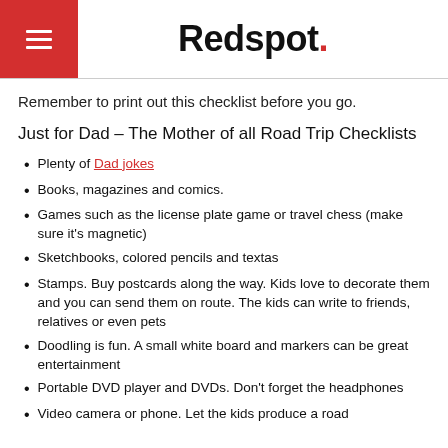Redspot.
Remember to print out this checklist before you go.
Just for Dad – The Mother of all Road Trip Checklists
Plenty of Dad jokes
Books, magazines and comics.
Games such as the license plate game or travel chess (make sure it's magnetic)
Sketchbooks, colored pencils and textas
Stamps. Buy postcards along the way. Kids love to decorate them and you can send them on route. The kids can write to friends, relatives or even pets
Doodling is fun. A small white board and markers can be great entertainment
Portable DVD player and DVDs. Don't forget the headphones
Video camera or phone. Let the kids produce a road